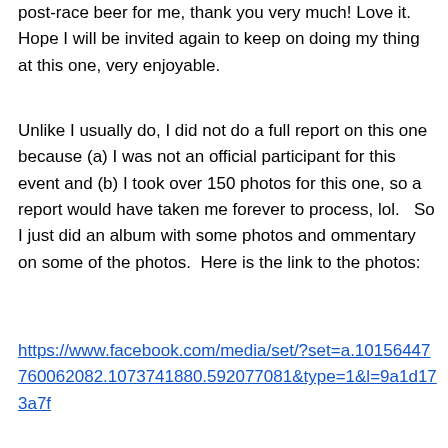post-race beer for me, thank you very much! Love it. Hope I will be invited again to keep on doing my thing at this one, very enjoyable.
Unlike I usually do, I did not do a full report on this one because (a) I was not an official participant for this event and (b) I took over 150 photos for this one, so a report would have taken me forever to process, lol.   So I just did an album with some photos and ommentary on some of the photos.  Here is the link to the photos:
https://www.facebook.com/media/set/?set=a.10156447760062082.1073741880.592077081&type=1&l=9a1d173a7f